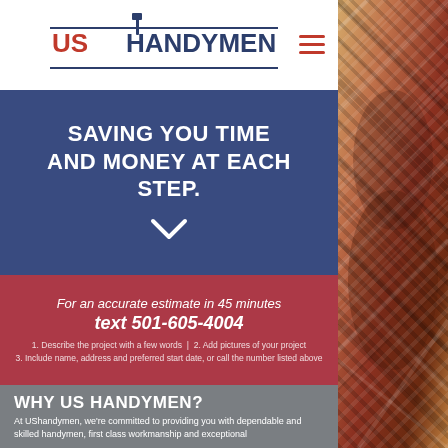[Figure (logo): US Handymen logo with hammer icon, red US text and navy HANDYMEN text with horizontal lines]
SAVING YOU TIME AND MONEY AT EACH STEP.
For an accurate estimate in 45 minutes text 501-605-4004
1. Describe the project with a few words  |  2. Add pictures of your project
3. Include name, address and preferred start date, or call the number listed above
WHY US HANDYMEN?
At UShandymen, we're committed to providing you with dependable and skilled handymen, first class workmanship and exceptional
[Figure (photo): Person wearing plaid shirt, cropped on right side of page]